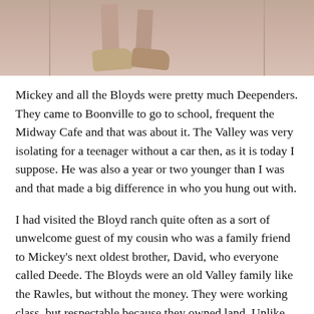[Figure (photo): Cropped photo showing the lower portion of a person's legs and shoes, appearing to be a vintage black and white or sepia photograph. Only the feet and lower legs are visible at the bottom of the frame.]
Mickey and all the Bloyds were pretty much Deependers. They came to Boonville to go to school, frequent the Midway Cafe and that was about it. The Valley was very isolating for a teenager without a car then, as it is today I suppose. He was also a year or two younger than I was and that made a big difference in who you hung out with.
I had visited the Bloyd ranch quite often as a sort of unwelcome guest of my cousin who was a family friend to Mickey's next oldest brother, David, who everyone called Deede. The Bloyds were an old Valley family like the Rawles, but without the money. They were working class, but respectable because they owned land. Unlike the Rawles, the Bloyds had exploits. This was still a time when Valley mischief was seen as more colorful